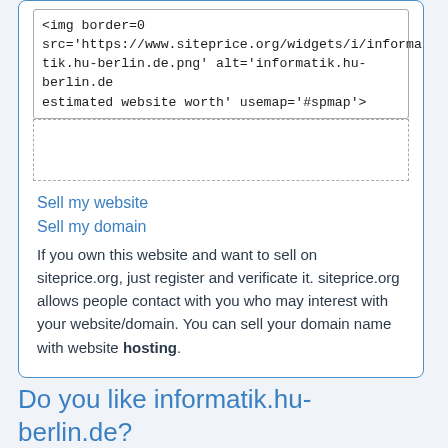<img border=0 src='https://www.siteprice.org/widgets/i/informatik.hu-berlin.de.png' alt='informatik.hu-berlin.de estimated website worth' usemap='#spmap'>
Sell my website
Sell my domain
If you own this website and want to sell on siteprice.org, just register and verificate it. siteprice.org allows people contact with you who may interest with your website/domain. You can sell your domain name with website hosting.
Do you like informatik.hu-berlin.de?